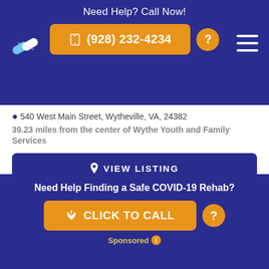Need Help? Call Now! (928) 232-4234
540 West Main Street, Wytheville, VA, 24382
39.23 miles from the center of Wythe Youth and Family Services
VIEW LISTING
WestCare Kentucky
10057 Elkhorn Creek, Ashcamp, KY, 41512
44.44 miles from the center of WestCare Kentucky
Need Help Finding a Safe COVID-19 Rehab? CLICK TO CALL Sponsored